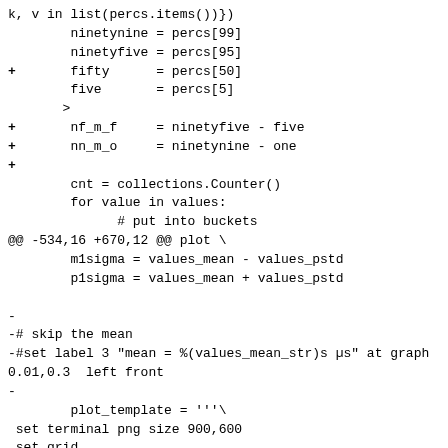k, v in list(percs.items())})
        ninetynine = percs[99]
        ninetyfive = percs[95]
+       fifty      = percs[50]
        five       = percs[5]
        one        = percs[1]

+       nf_m_f     = ninetyfive - five
+       nn_m_o     = ninetynine - one
+
        cnt = collections.Counter()
        for value in values:
              # put into buckets
@@ -534,16 +670,12 @@ plot \
        m1sigma = values_mean - values_pstd
        p1sigma = values_mean + values_pstd

-
-# skip the mean
-#set label 3 "mean = %(values_mean_str)s µs" at graph
0.01,0.3  left front
-
        plot_template = '''\
 set terminal png size 900,600
 set grid
 set boxwidth %(boxwidth)s
 set xtic rotate by -45 scale 0
-set title "%(sitename)s: Local Clock Time Offset -
Histogram"
+set title "%(sitename)s: Local Clock Time Offset